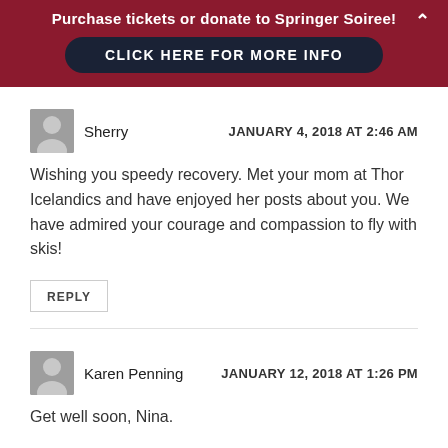Purchase tickets or donate to Springer Soiree! CLICK HERE FOR MORE INFO
Sherry   JANUARY 4, 2018 AT 2:46 AM
Wishing you speedy recovery. Met your mom at Thor Icelandics and have enjoyed her posts about you. We have admired your courage and compassion to fly with skis!
REPLY
Karen Penning   JANUARY 12, 2018 AT 1:26 PM
Get well soon, Nina.